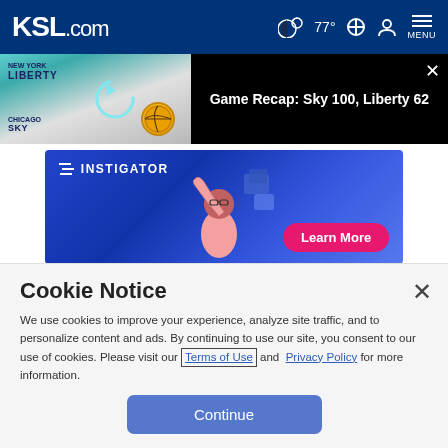KSL.com  🌙 77° 🔍 👤 MENU
[Figure (screenshot): Game Recap: Sky 100, Liberty 62 banner with team imagery on left (New York Liberty vs Chicago Sky) and text on right against black background]
[Figure (screenshot): Instigator advertisement banner showing animated person with Learn More button]
Cookie Notice
We use cookies to improve your experience, analyze site traffic, and to personalize content and ads. By continuing to use our site, you consent to our use of cookies. Please visit our Terms of Use and  Privacy Policy for more information.
Continue